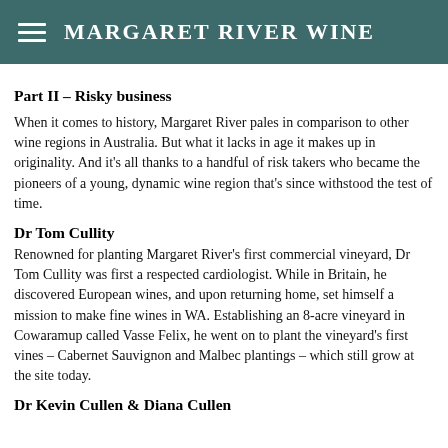Margaret River Wine
Part II – Risky business
When it comes to history, Margaret River pales in comparison to other wine regions in Australia. But what it lacks in age it makes up in originality. And it's all thanks to a handful of risk takers who became the pioneers of a young, dynamic wine region that's since withstood the test of time.
Dr Tom Cullity
Renowned for planting Margaret River's first commercial vineyard, Dr Tom Cullity was first a respected cardiologist. While in Britain, he discovered European wines, and upon returning home, set himself a mission to make fine wines in WA. Establishing an 8-acre vineyard in Cowaramup called Vasse Felix, he went on to plant the vineyard's first vines – Cabernet Sauvignon and Malbec plantings – which still grow at the site today.
Dr Kevin Cullen & Diana Cullen